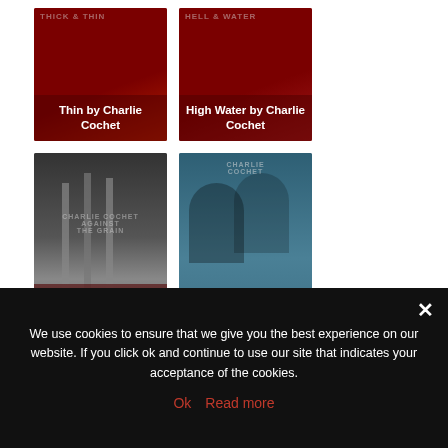[Figure (illustration): Book cover for 'Thin by Charlie Cochet' on dark red background with white overlay text]
[Figure (illustration): Book cover for 'High Water by Charlie Cochet' on dark red background with white overlay text]
[Figure (illustration): Book cover for 'Against the Grain by Charlie Cochet' - dark photo of person behind bars, with white overlay text 'Guest Post and Giveaway: Against the Grain by Charlie Cochet']
[Figure (illustration): Book cover for 'Tried & True by Charlie Cochet' - two men in tuxedos, with white overlay text 'Review: Tried & True by Charlie Cochet']
Share:
We use cookies to ensure that we give you the best experience on our website. If you click ok and continue to use our site that indicates your acceptance of the cookies.
Ok   Read more